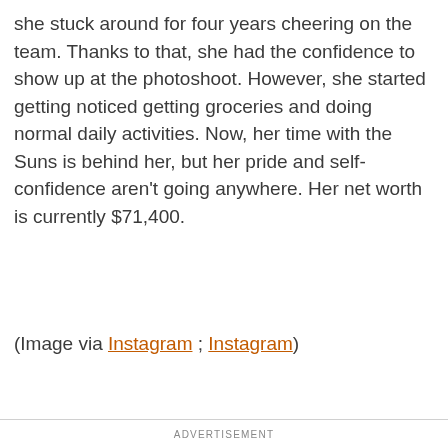she stuck around for four years cheering on the team. Thanks to that, she had the confidence to show up at the photoshoot. However, she started getting noticed getting groceries and doing normal daily activities. Now, her time with the Suns is behind her, but her pride and self-confidence aren't going anywhere. Her net worth is currently $71,400.
(Image via Instagram; Instagram)
ADVERTISEMENT